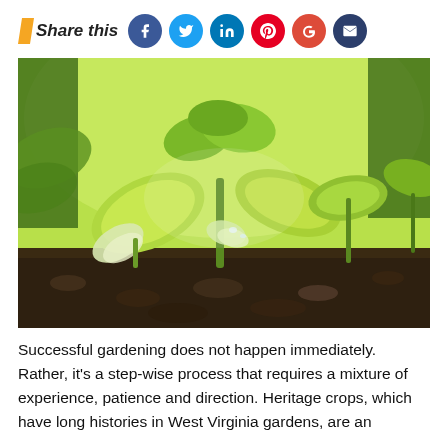Share this
[Figure (photo): Close-up photo of young green seedling plants sprouting from dark soil, with various small leafy sprouts visible in bright green against a blurred background, with dark brown soil visible at the bottom.]
Successful gardening does not happen immediately. Rather, it's a step-wise process that requires a mixture of experience, patience and direction. Heritage crops, which have long histories in West Virginia gardens, are an